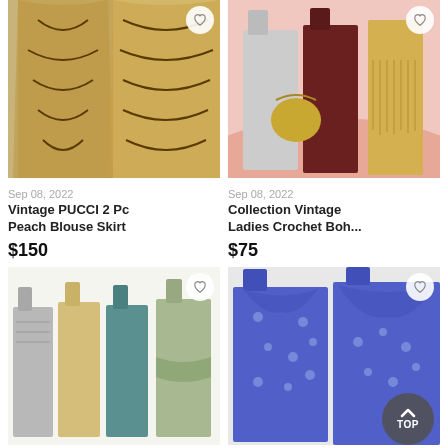[Figure (photo): Vintage PUCCI 2 Pc Peach Blouse Skirt product listing photo showing two views of the patterned outfit]
Sep 08, 2022
Vintage PUCCI 2 Pc Peach Blouse Skirt
$150
[Figure (photo): Collection Vintage Ladies Crochet Boh... product listing photo showing dresses and accessories on mannequins]
Sep 08, 2022
Collection Vintage Ladies Crochet Boh...
$75
[Figure (photo): Vintage ladies formal dresses on mannequins, various colors]
Sep 08, 2022
[Figure (photo): Blue floral vintage outfit shown in two views]
Sep 08, 2022